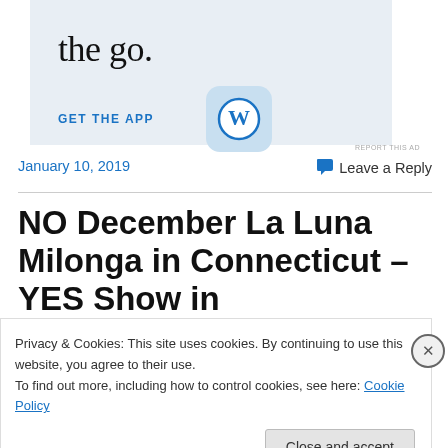[Figure (screenshot): WordPress app advertisement banner with 'the go.' text and 'GET THE APP' link with WordPress logo icon]
REPORT THIS AD
January 10, 2019
Leave a Reply
NO December La Luna Milonga in Connecticut – YES Show in
Privacy & Cookies: This site uses cookies. By continuing to use this website, you agree to their use.
To find out more, including how to control cookies, see here: Cookie Policy
Close and accept